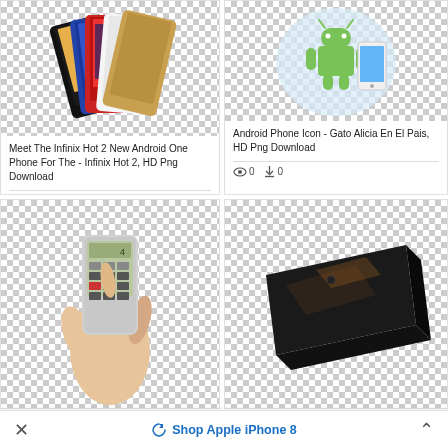[Figure (photo): Multiple Infinix Hot 2 smartphones in various colors (black, white, red, blue, gold) fanned out, showing Android interface]
Meet The Infinix Hot 2 New Android One Phone For The - Infinix Hot 2, HD Png Download
0 views  0 downloads
[Figure (illustration): Android robot mascot icon next to a smartphone, on light blue circular background - Android Phone Icon]
Android Phone Icon - Gato Alicia En El Pais, HD Png Download
0 views  0 downloads
[Figure (photo): Hand holding a smartphone displaying a calculator app interface]
[Figure (photo): Flat black smartphone lying face-down at an angle on transparent/white background]
Shop Apple iPhone 8